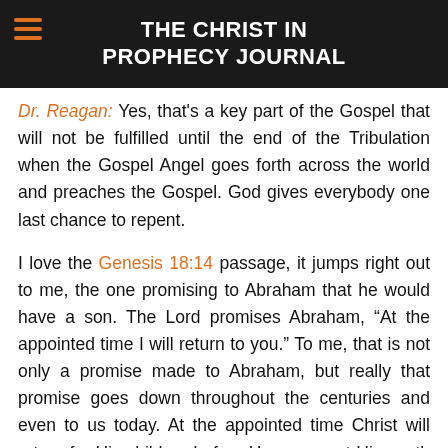THE CHRIST IN PROPHECY JOURNAL
Dr. Reagan: Yes, that's a key part of the Gospel that will not be fulfilled until the end of the Tribulation when the Gospel Angel goes forth across the world and preaches the Gospel. God gives everybody one last chance to repent.
I love the Genesis 18:14 passage, it jumps right out to me, the one promising to Abraham that he would have a son. The Lord promises Abraham, “At the appointed time I will return to you.” To me, that is not only a promise made to Abraham, but really that promise goes down throughout the centuries and even to us today. At the appointed time Christ will return for His children before He pours out His wrath upon the world. That’s just how God operates.
In the fourth and last segment where we answer your questions about the Rapture, we’ll ponder whether those who believe in a Pre-Trib Rapture are merely a bunch of